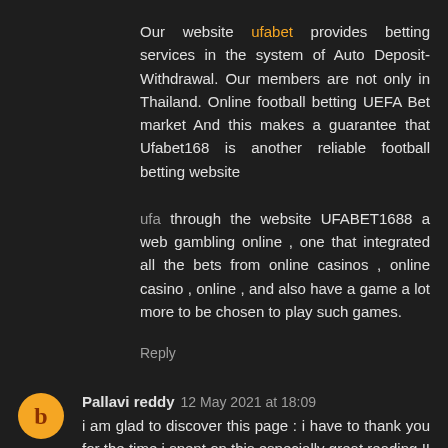Our website ufabet provides betting services in the system of Auto Deposit-Withdrawal. Our members are not only in Thailand. Online football betting UEFA Bet market And this makes a guarantee that Ufabet168 is another reliable football betting website
ufa through the website UFABET1688 a web gambling online , one that integrated all the bets from online casinos , online casino , online , and also have a game a lot more to be chosen to play such games.
Reply
Pallavi reddy 12 May 2021 at 18:09
i am glad to discover this page : i have to thank you for the time i spent on this especially great reading !! i really liked each part and also bookmarked you for new information on your site.
cyber security training in bangalore
Reply